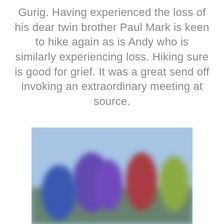Gurig. Having experienced the loss of his dear twin brother Paul Mark is keen to hike again as is Andy who is similarly experiencing loss. Hiking sure is good for grief. It was a great send off invoking an extraordinary meeting at source.
[Figure (photo): Blurred outdoor photo showing people in colorful jackets (purple, red, yellow-green) standing outside under a blue sky, with trees and buildings in the background.]